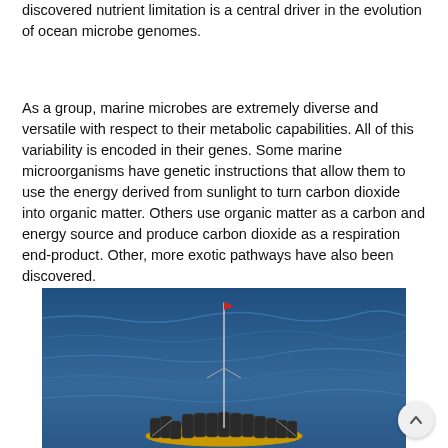discovered nutrient limitation is a central driver in the evolution of ocean microbe genomes.
As a group, marine microbes are extremely diverse and versatile with respect to their metabolic capabilities. All of this variability is encoded in their genes. Some marine microorganisms have genetic instructions that allow them to use the energy derived from sunlight to turn carbon dioxide into organic matter. Others use organic matter as a carbon and energy source and produce carbon dioxide as a respiration end-product. Other, more exotic pathways have also been discovered.
[Figure (photo): A scientific ocean sampling buoy or drifter device floating on blue ocean water. The circular device has a yellow ring around its base, with multiple dark cylindrical sample bottles arranged around it and a tall thin antenna/mast in the center with a small red flag at the top.]